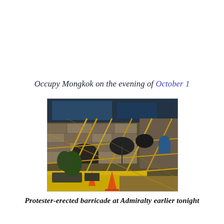Occupy Mongkok on the evening of October 1
[Figure (photo): Photograph of a protester-erected barricade made of scaffolding poles and metal barriers, with umbrellas and traffic cones visible, taken at Admiralty during Occupy protests in Hong Kong on the evening of October 1.]
Protester-erected barricade at Admiralty earlier tonight